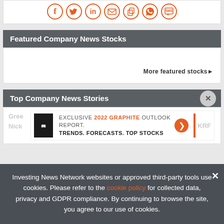[Figure (illustration): Social media share icons in orange circles: Facebook, Twitter, LinkedIn, Email, Copy, WhatsApp, SMS]
Featured Company News Stocks
More featured stocks►
Top Company News Stories
[Figure (infographic): Advertisement banner: EXCLUSIVE 2022 GRAPHITE OUTLOOK REPORT. TRENDS. FORECASTS. TOP STOCKS. with orange arrow button and orange vertical divider]
Investing News Network websites or approved third-party tools use cookies. Please refer to the cookie policy for collected data, privacy and GDPR compliance. By continuing to browse the site, you agree to our use of cookies.